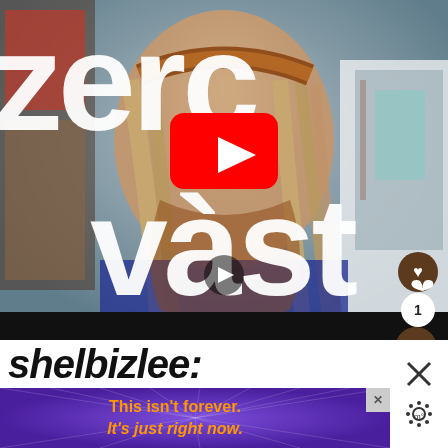[Figure (screenshot): YouTube video thumbnail showing a young woman with dreadlocks, headband, nose ring, wearing a patterned sweater. Large white text overlay reads 'zero waste'. A red YouTube play button is centered on the image. Heart button, share count '1', and share icon appear on the right side.]
shelbizlee:
[Figure (infographic): Purple advertisement banner with radiating lines pattern. Text reads: This isn't forever. It's just right now. with a close X button and right-side icons.]